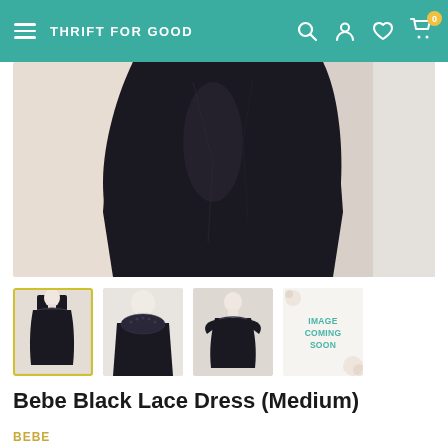THRIFT FOR GOOD
[Figure (photo): Main product photo showing lower torso of a black lace dress on a mannequin against a beige/white background]
[Figure (photo): Thumbnail 1 (selected): Full-length black lace dress on mannequin]
[Figure (photo): Thumbnail 2: Close-up of neckline lace detail of black dress]
[Figure (photo): Thumbnail 3: Black dress on mannequin]
[Figure (photo): Thumbnail 4: Image Coming Soon placeholder]
Bebe Black Lace Dress (Medium)
BEBE